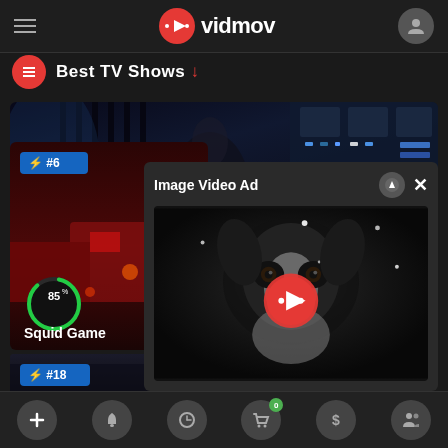vidmov
Best TV Shows
[Figure (screenshot): Sci-fi interior scene from a TV show, dark blue tones with control panels]
[Figure (screenshot): Squid Game TV show card with #6 trending badge, 85% score, dark red background]
[Figure (screenshot): Image Video Ad overlay showing a black and white dog in snow with a red play button]
Image Video Ad
#6
85%
Squid Game
#18
+ bell clock cart dollar people